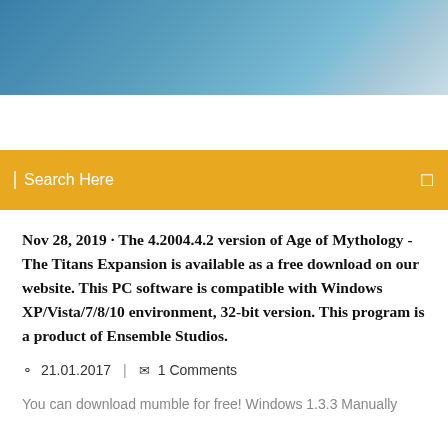[Figure (photo): Blue sky gradient header image]
Search Here
Nov 28, 2019 · The 4.2004.4.2 version of Age of Mythology - The Titans Expansion is available as a free download on our website. This PC software is compatible with Windows XP/Vista/7/8/10 environment, 32-bit version. This program is a product of Ensemble Studios.
21.01.2017  |  1 Comments
You can download mumble for free! Windows 1.3.3 Manually